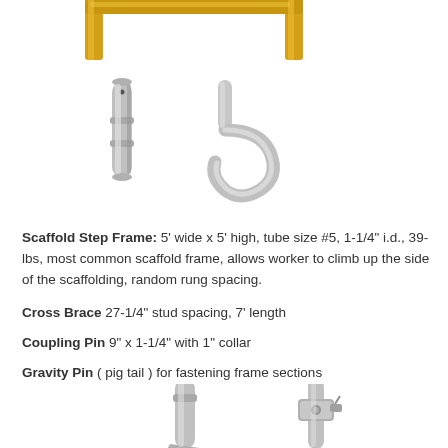[Figure (photo): Top portion of a scaffold step frame with yellow/gold painted steel, showing the top rail and legs of the frame — cropped at top of page.]
[Figure (photo): Two scaffold components shown: a silver/chrome coupling pin (vertical cylindrical pin with collar) on the left, and a gravity pin (pig tail hook shape) on the right, both metallic silver.]
Scaffold Step Frame: 5' wide x 5' high, tube size #5, 1-1/4" i.d., 39-lbs, most common scaffold frame, allows worker to climb up the side of the scaffolding, random rung spacing.
Cross Brace 27-1/4" stud spacing, 7' length
Coupling Pin 9" x 1-1/4" with 1" collar
Gravity Pin ( pig tail ) for fastening frame sections
[Figure (photo): Bottom portion of page showing two scaffold hardware components — a coupling pin on left and a clamped joint/connector on right, metallic silver, partially cropped at bottom.]